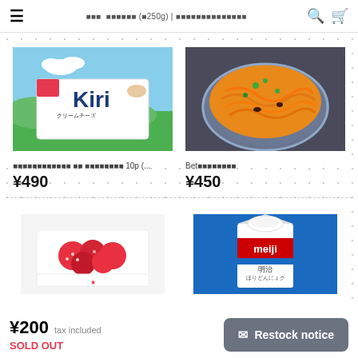≡  ■■■  ■■■■■■ (■250g) | ■■■■■■■■■■■■■■  🔍  🛒
[Figure (photo): Kiri cream cheese product box with blue sky and green hills background]
[Figure (photo): Carrot dish in a glass bowl on dark wooden surface, garnished with herbs]
■■■■■■■■■■■■ ■■ ■■■■■■■■ 10p (... ¥490
Bet■■■■■■■■■ ¥450
[Figure (photo): Strawberry dessert in white container]
[Figure (photo): Meiji milk carton in blue packaging]
¥200 tax included
SOLD OUT